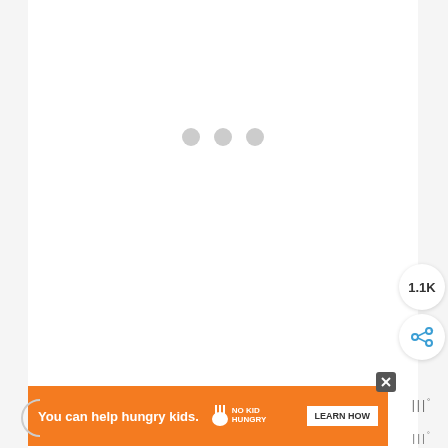[Figure (screenshot): Loading spinner with three gray dots centered on a white page background]
[Figure (infographic): Share widget showing 1.1K share count and a share button icon]
[Figure (infographic): Weather widget icons on the right side]
[Figure (screenshot): Advertisement banner: orange background with text 'You can help hungry kids.' and No Kid Hungry logo and LEARN HOW button]